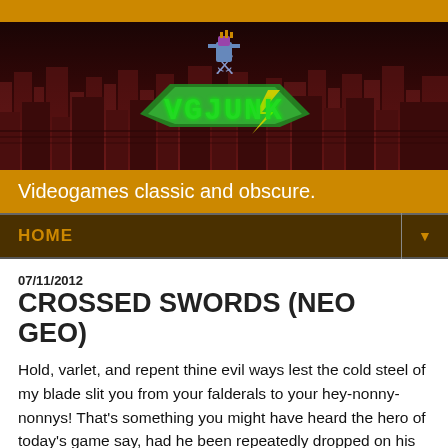[Figure (logo): VGJunk website banner with pixel-art logo showing green 'VGJUNK' text and warrior character against a dark red cityscape background]
Videogames classic and obscure.
HOME
07/11/2012
CROSSED SWORDS (NEO GEO)
Hold, varlet, and repent thine evil ways lest the cold steel of my blade slit you from your falderals to your hey-nonny-nonnys! That's something you might have heard the hero of today's game say, had he been repeatedly dropped on his head as an infant. Oh, and if he could overcome his mutism. This noble warrior may suffer many hardships during his journey, but thankfully talking like a deranged LARPer isn't